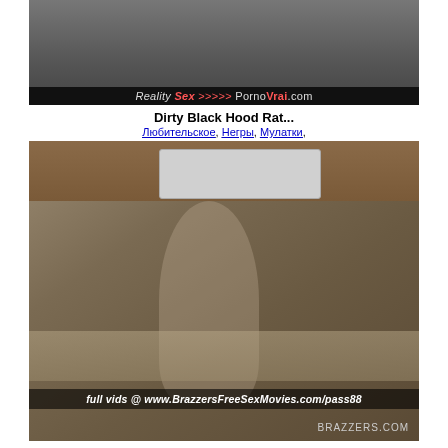[Figure (screenshot): Video thumbnail with black bar overlay reading 'Reality Sex >>>>> PornoVrai.com']
Dirty Black Hood Rat...
Любительское, Негры, Мулатки,
[Figure (screenshot): Video thumbnail of woman in kitchen with overlay text 'full vids @ www.BrazzersFreeSexMovies.com/pass88' and brazzers.com watermark]
Got sexy MOMs on...
Любительское, Большие, Груди,
[Figure (screenshot): Partial video thumbnail at bottom of page]